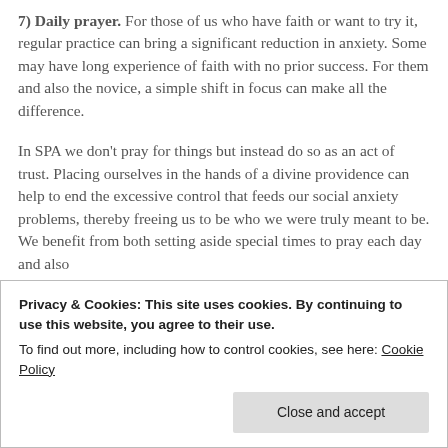7) Daily prayer. For those of us who have faith or want to try it, regular practice can bring a significant reduction in anxiety. Some may have long experience of faith with no prior success. For them and also the novice, a simple shift in focus can make all the difference.
In SPA we don't pray for things but instead do so as an act of trust. Placing ourselves in the hands of a divine providence can help to end the excessive control that feeds our social anxiety problems, thereby freeing us to be who we were truly meant to be. We benefit from both setting aside special times to pray each day and also
Privacy & Cookies: This site uses cookies. By continuing to use this website, you agree to their use.
To find out more, including how to control cookies, see here: Cookie Policy
set aside quiet time each day for reflection on the good